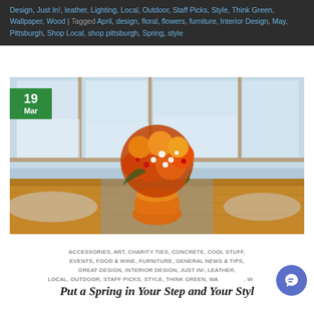Design, Just In!, leather, Lighting, Local, Outdoor, Staff Picks, Style, Think Green, Wallpaper, Wood | Tagged April, design, floral, flowers, furniture, Interior Design, May, Pittsburgh, Shop Local, shop pittsburgh, Spring, style
[Figure (photo): Photo of orange and red floral arrangement in an orange vase on a wooden dining table, with windows and snowy outdoor scene in background. Green date badge overlay showing '19 Mar' in top-left corner.]
ACCESSORIES, ART, CHARITY TIES, CONCRETE, COOL STUFF, EVENTS, FOOD & WINE, FURNITURE, GENERAL NEWS & TIPS, GREAT DESIGN, INTERIOR DESIGN, JUST IN!, LEATHER, LOCAL, OUTDOOR, STAFF PICKS, STYLE, THINK GREEN, WALLPAPER, WOOD
Put a Spring in Your Step and Your Style